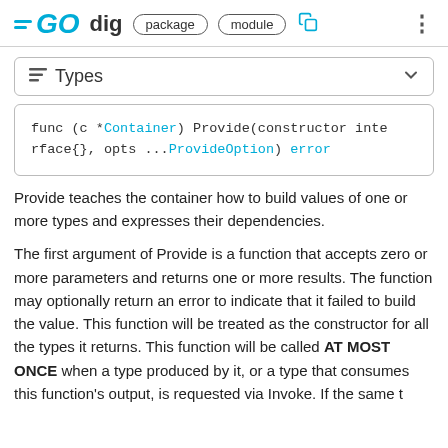GO dig  package  module
≡ Types
[Figure (other): Code block showing: func (c *Container) Provide(constructor interface{}, opts ...ProvideOption) error]
Provide teaches the container how to build values of one or more types and expresses their dependencies.
The first argument of Provide is a function that accepts zero or more parameters and returns one or more results. The function may optionally return an error to indicate that it failed to build the value. This function will be treated as the constructor for all the types it returns. This function will be called AT MOST ONCE when a type produced by it, or a type that consumes this function's output, is requested via Invoke. If the same t...